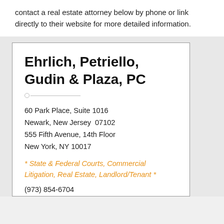contact a real estate attorney below by phone or link directly to their website for more detailed information.
Ehrlich, Petriello, Gudin & Plaza, PC
60 Park Place, Suite 1016
Newark, New Jersey  07102
555 Fifth Avenue, 14th Floor
New York, NY 10017
* State & Federal Courts, Commercial Litigation, Real Estate, Landlord/Tenant *
(973) 854-6704
Visit Our Website